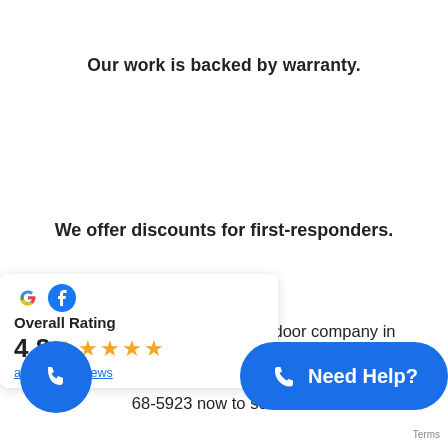Our work is backed by warranty.
We offer discounts for first-responders.
Hire our family-owned garage door company in Melbourne, West Melbourne & Merritt Island, and your Brevard County 68-5923 now to schedule
[Figure (infographic): Overall Rating widget showing Google and Facebook logos, 4.8 star rating with 5 gold stars, and link to read 51 reviews]
[Figure (infographic): Blue circular phone button on the left]
[Figure (infographic): Blue 'Need Help?' call-to-action button with phone icon]